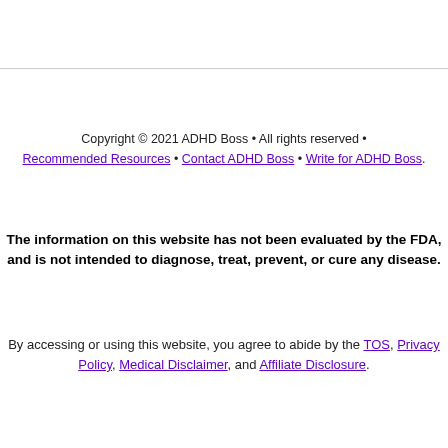Copyright © 2021 ADHD Boss • All rights reserved • Recommended Resources • Contact ADHD Boss • Write for ADHD Boss.
The information on this website has not been evaluated by the FDA, and is not intended to diagnose, treat, prevent, or cure any disease.
By accessing or using this website, you agree to abide by the TOS, Privacy Policy, Medical Disclaimer, and Affiliate Disclosure.